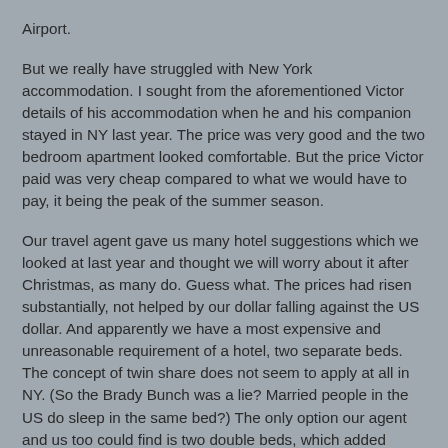Airport.
But we really have struggled with New York accommodation. I sought from the aforementioned Victor details of his accommodation when he and his companion stayed in NY last year. The price was very good and the two bedroom apartment looked comfortable. But the price Victor paid was very cheap compared to what we would have to pay, it being the peak of the summer season.
Our travel agent gave us many hotel suggestions which we looked at last year and thought we will worry about it after Christmas, as many do. Guess what. The prices had risen substantially, not helped by our dollar falling against the US dollar. And apparently we have a most expensive and unreasonable requirement of a hotel, two separate beds. The concept of twin share does not seem to apply at all in NY. (So the Brady Bunch was a lie? Married people in the US do sleep in the same bed?) The only option our agent and us too could find is two double beds, which added substantially to the price. It was all becoming a bit much for us as money seemed to be draining away at a rapid rate.